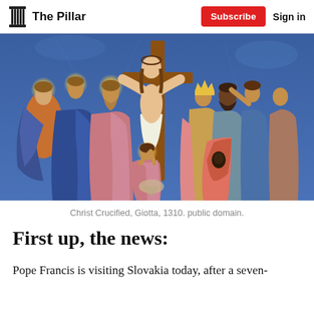The Pillar  Subscribe  Sign in
[Figure (illustration): Medieval fresco painting 'Christ Crucified' by Giotto, 1310. Shows Christ on the cross with figures including saints with halos on the left and a crowd on the right, on a blue background.]
Christ Crucified, Giotta, 1310. public domain.
First up, the news:
Pope Francis is visiting Slovakia today, after a seven-